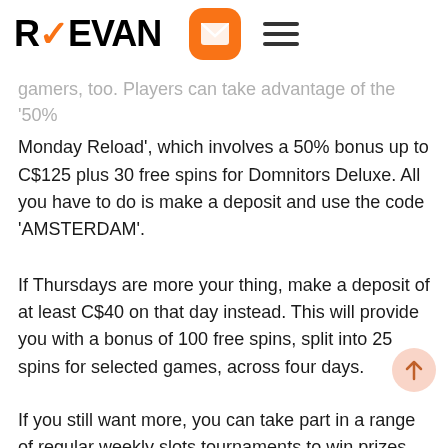REEVAN
gamers, too. Players can take advantage of the '50% Monday Reload', which involves a 50% bonus up to C$125 plus 30 free spins for Domnitors Deluxe. All you have to do is make a deposit and use the code 'AMSTERDAM'.
If Thursdays are more your thing, make a deposit of at least C$40 on that day instead. This will provide you with a bonus of 100 free spins, split into 25 spins for selected games, across four days.
If you still want more, you can take part in a range of regular weekly slots tournaments to win prizes.
CasinoChan VIP & Extras